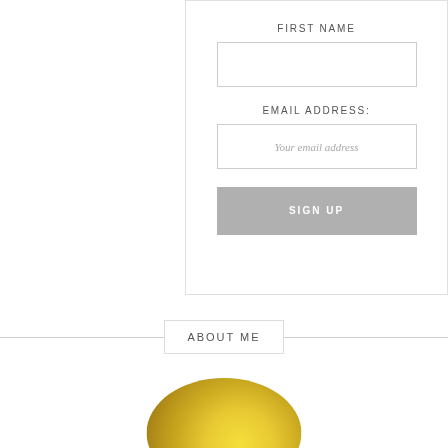FIRST NAME
[Figure (other): Empty text input field for first name]
EMAIL ADDRESS:
[Figure (other): Email address input field with placeholder text 'Your email address']
SIGN UP
ABOUT ME
[Figure (photo): Circular cropped photo showing yellow flowers or bokeh background in shades of yellow and gold]